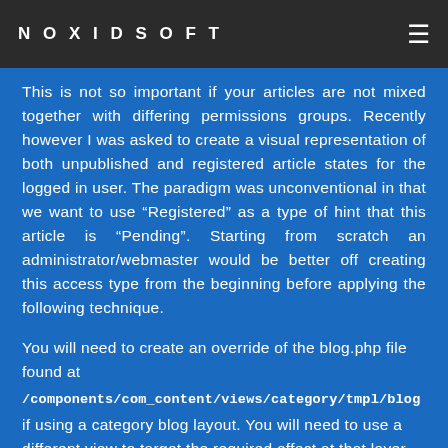NOXIDSOFT
This is not so important if your articles are not mixed together with differing permissions groups. Recently however I was asked to create a visual representation of both unpublished and registered article states for the logged in user. The paradigm was unconventional in that we want to use “Registered” as a type of hint that this article is “Pending”. Starting from scratch an administrator/webmaster would be better off creating this access type from the beginning before applying the following technique.
You will need to create an override of the blog.php file found at
/components/com_content/views/category/tmpl/blog
if using a category blog layout. You will need to use a different view to target the required effect at that layer.